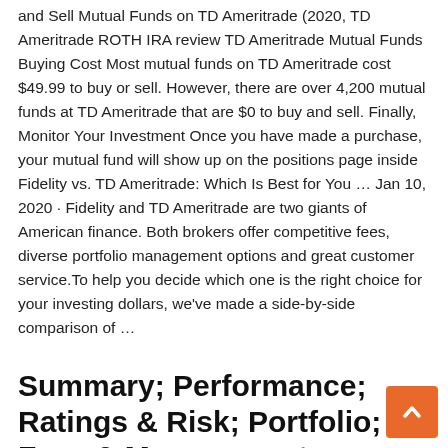and Sell Mutual Funds on TD Ameritrade (2020, TD Ameritrade ROTH IRA review TD Ameritrade Mutual Funds Buying Cost Most mutual funds on TD Ameritrade cost $49.99 to buy or sell. However, there are over 4,200 mutual funds at TD Ameritrade that are $0 to buy and sell. Finally, Monitor Your Investment Once you have made a purchase, your mutual fund will show up on the positions page inside Fidelity vs. TD Ameritrade: Which Is Best for You … Jan 10, 2020 · Fidelity and TD Ameritrade are two giants of American finance. Both brokers offer competitive fees, diverse portfolio management options and great customer service.To help you decide which one is the right choice for your investing dollars, we've made a side-by-side comparison of …
Summary; Performance; Ratings & Risk; Portfolio; Fees & Management Vanguard Mega Cap Index